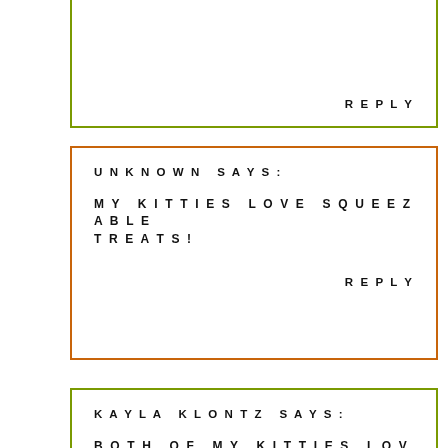REPLY
UNKNOWN SAYS:
MY KITTIES LOVE SQUEEZABLE TREATS!
REPLY
KAYLA KLONTZ SAYS:
BOTH OF MY KITTIES LOVE THEM!